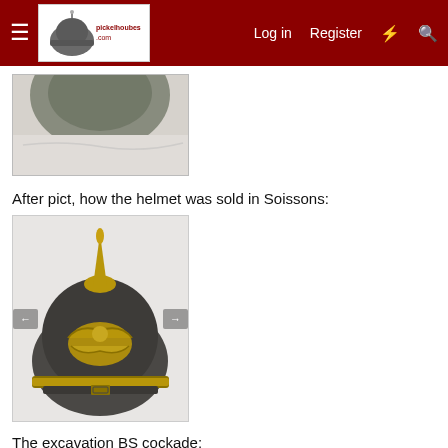pickelhoubes.com — Log in  Register
[Figure (photo): Partial photo of a helmeted object on a marble-like surface, cropped at top]
After pict, how the helmet was sold in Soissons:
[Figure (photo): A Pickelhaube (German spiked helmet) with brass spike and eagle plate on front, dark leather body, sold in Soissons. Navigation arrows on left and right side of image.]
The excavation BS cockade:
[Figure (photo): Partial bottom image showing a textured metallic surface, likely a cockade]